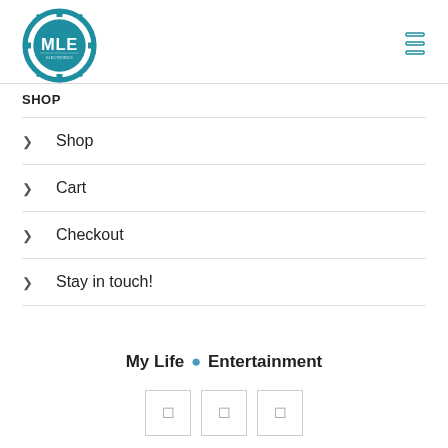MLE logo and navigation icon
SHOP
Shop
Cart
Checkout
Stay in touch!
My Life ● Entertainment
[Figure (other): Three social media icon buttons in square outlines]